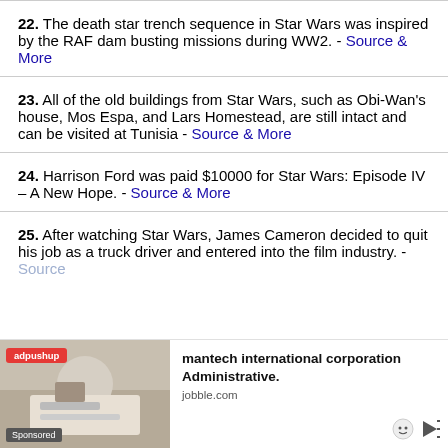22. The death star trench sequence in Star Wars was inspired by the RAF dam busting missions during WW2. - Source & More
23. All of the old buildings from Star Wars, such as Obi-Wan's house, Mos Espa, and Lars Homestead, are still intact and can be visited at Tunisia - Source & More
24. Harrison Ford was paid $10000 for Star Wars: Episode IV – A New Hope. - Source & More
25. After watching Star Wars, James Cameron decided to quit his job as a truck driver and entered into the film industry. - Source
[Figure (infographic): Advertisement banner at bottom: adpushup label, image of person working at desk, text 'mantech international corporation Administrative.' from jobble.com, with emoji and play button icons. Sponsored label.]